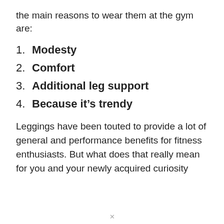the main reasons to wear them at the gym are:
1. Modesty
2. Comfort
3. Additional leg support
4. Because it's trendy
Leggings have been touted to provide a lot of general and performance benefits for fitness enthusiasts. But what does that really mean for you and your newly acquired curiosity